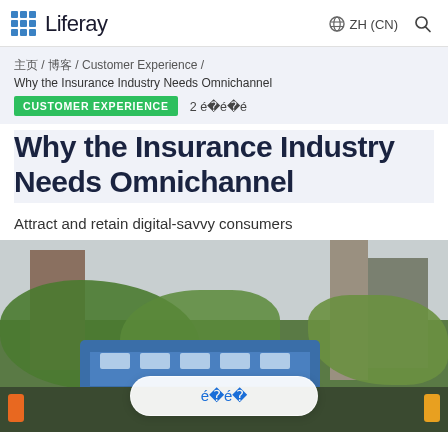Liferay | ZH (CN)
主页 / 博客 / Customer Experience / Why the Insurance Industry Needs Omnichannel
CUSTOMER EXPERIENCE  2 ████
Why the Insurance Industry Needs Omnichannel
Attract and retain digital-savvy consumers
[Figure (photo): Outdoor urban scene with train, trees, buildings, and a button overlay with Chinese characters]